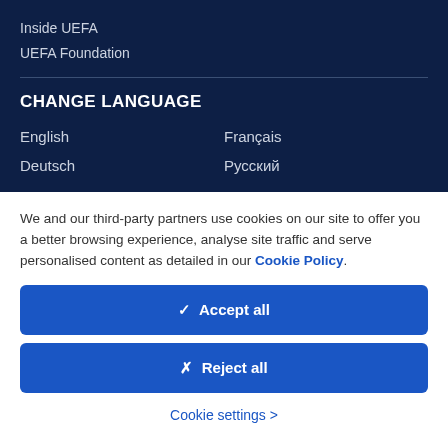Inside UEFA
UEFA Foundation
CHANGE LANGUAGE
English
Français
Deutsch
Русский
We and our third-party partners use cookies on our site to offer you a better browsing experience, analyse site traffic and serve personalised content as detailed in our Cookie Policy.
✓  Accept all
✗  Reject all
Cookie settings >